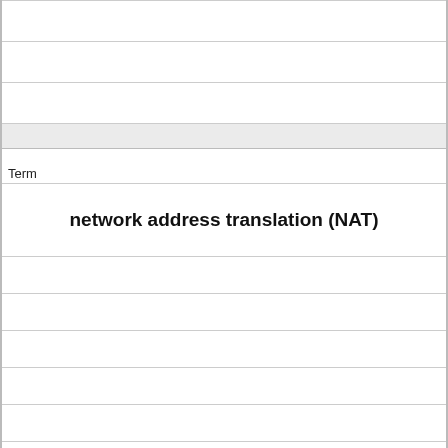| Term | Definition |
| --- | --- |
| network address translation (NAT) | A means of translating a system's IP address into another IP address before sending it out to a larger network. NAT manifests itself by a NAT program that runs on a system or a router. A network using NAT provides the systems on the network with private IP addresses. The system running the |